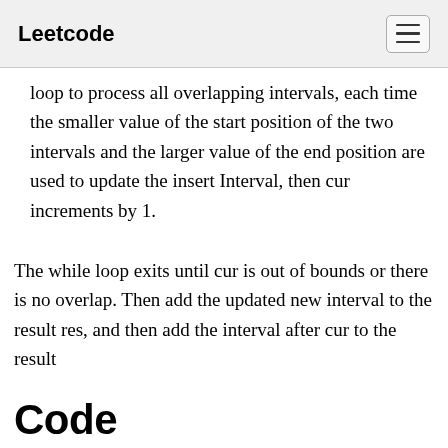Leetcode
loop to process all overlapping intervals, each time the smaller value of the start position of the two intervals and the larger value of the end position are used to update the insert Interval, then cur increments by 1.
The while loop exits until cur is out of bounds or there is no overlap. Then add the updated new interval to the result res, and then add the interval after cur to the result
Code